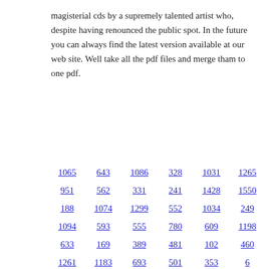magisterial cds by a supremely talented artist who, despite having renounced the public spot. In the future you can always find the latest version available at our web site. Well take all the pdf files and merge tham to one pdf.
1065  643  1086  328  1031  1265
951  562  331  241  1428  1550
188  1074  1299  552  1034  249
1094  593  555  780  609  1198
633  169  389  481  102  460
1261  1183  693  501  353  6
1098